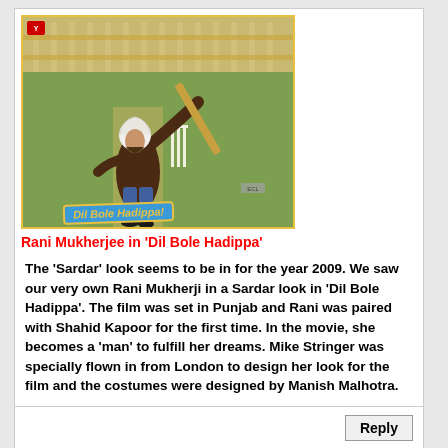[Figure (photo): Rani Mukherjee dressed as a Sardar (male cricketer) in a batting pose on a cricket field, from the movie 'Dil Bole Hadippa'. Yellow border around the image, YRF logo top-left, ECL watermark bottom-right, Dil Bole Hadippa sign at bottom.]
Rani Mukherjee in 'Dil Bole Hadippa'
The 'Sardar' look seems to be in for the year 2009. We saw our very own Rani Mukherji in a Sardar look in 'Dil Bole Hadippa'. The film was set in Punjab and Rani was paired with Shahid Kapoor for the first time. In the movie, she becomes a 'man' to fulfill her dreams. Mike Stringer was specially flown in from London to design her look for the film and the costumes were designed by Manish Malhotra.
Reply